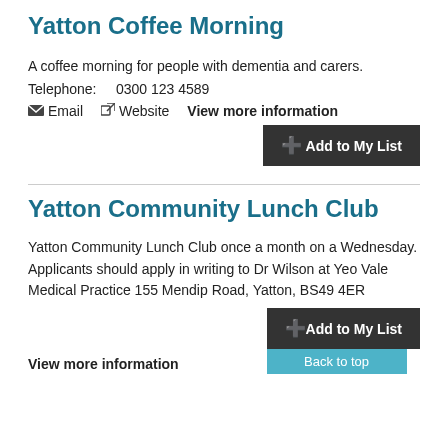Yatton Coffee Morning
A coffee morning for people with dementia and carers.
Telephone:    0300 123 4589
Email   Website   View more information
Yatton Community Lunch Club
Yatton Community Lunch Club once a month on a Wednesday. Applicants should apply in writing to Dr Wilson at Yeo Vale Medical Practice 155 Mendip Road, Yatton, BS49 4ER
View more information